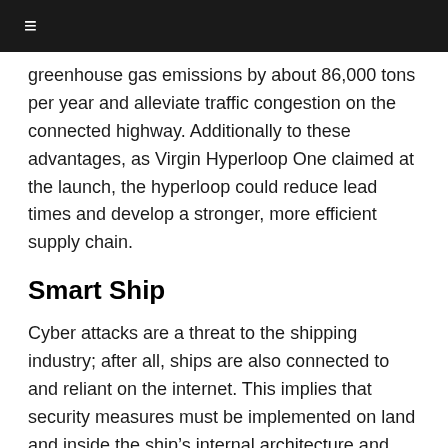≡
greenhouse gas emissions by about 86,000 tons per year and alleviate traffic congestion on the connected highway. Additionally to these advantages, as Virgin Hyperloop One claimed at the launch, the hyperloop could reduce lead times and develop a stronger, more efficient supply chain.
Smart Ship
Cyber attacks are a threat to the shipping industry; after all, ships are also connected to and reliant on the internet. This implies that security measures must be implemented on land and inside the ship's internal architecture and